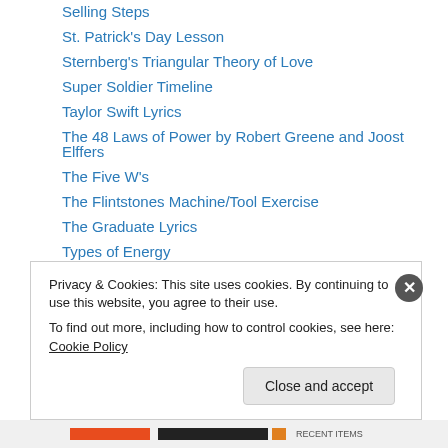Selling Steps
St. Patrick's Day Lesson
Sternberg's Triangular Theory of Love
Super Soldier Timeline
Taylor Swift Lyrics
The 48 Laws of Power by Robert Greene and Joost Elffers
The Five W's
The Flintstones Machine/Tool Exercise
The Graduate Lyrics
Types of Energy
Types of Groups Exercise
Visual Aids
Wall Street Survivor
Privacy & Cookies: This site uses cookies. By continuing to use this website, you agree to their use. To find out more, including how to control cookies, see here: Cookie Policy
Close and accept